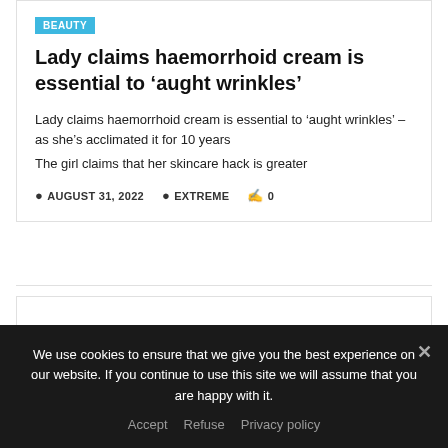BEAUTY
Lady claims haemorrhoid cream is essential to ‘aught wrinkles’
Lady claims haemorrhoid cream is essential to ‘aught wrinkles’ – as she’s acclimated it for 10 years
The girl claims that her skincare hack is greater
AUGUST 31, 2022   EXTREME   0
We use cookies to ensure that we give you the best experience on our website. If you continue to use this site we will assume that you are happy with it. Accept Refuse Privacy policy